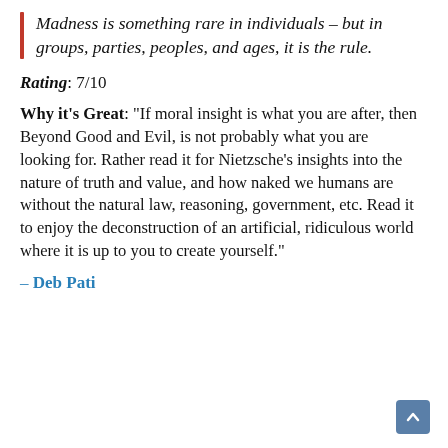Madness is something rare in individuals – but in groups, parties, peoples, and ages, it is the rule.
Rating: 7/10
Why it's Great: "If moral insight is what you are after, then Beyond Good and Evil, is not probably what you are looking for. Rather read it for Nietzsche's insights into the nature of truth and value, and how naked we humans are without the natural law, reasoning, government, etc. Read it to enjoy the deconstruction of an artificial, ridiculous world where it is up to you to create yourself."
– Deb Pati